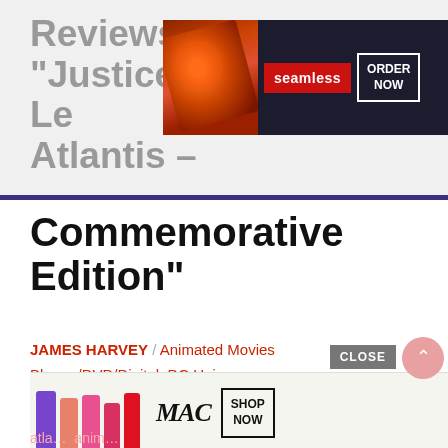Reviews “Justice Le… Atlantis – Commemorative Edition”
[Figure (other): Seamless food delivery advertisement banner showing pizza slices, Seamless logo in red, and ORDER NOW button with white border on dark background]
JAMES HARVEY / Animated Movies  Blu-ray/DVD/Digital  DC Universe Animated Original Movie  Justice League: Throne of Atlantis  Review  Site News  Warner Bros. Animation  Warner Bros. Home Entertainment  /  aquaman  dc universe animated original movie  dc universe movie  justice league  justice league: throne of  atla…  anim…
[Figure (other): MAC Cosmetics advertisement banner showing colorful lipsticks, MAC logo, and SHOP NOW button]
CLOSE